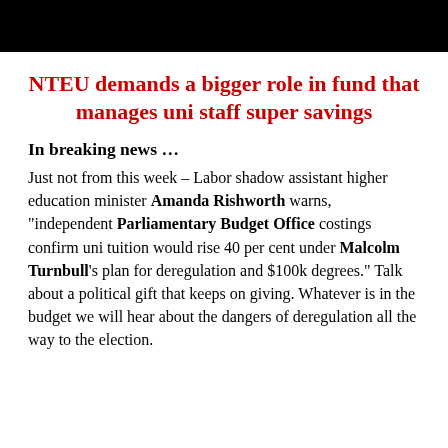NTEU demands a bigger role in fund that manages uni staff super savings
In breaking news …
Just not from this week – Labor shadow assistant higher education minister Amanda Rishworth warns, "independent Parliamentary Budget Office costings confirm uni tuition would rise 40 per cent under Malcolm Turnbull's plan for deregulation and $100k degrees." Talk about a political gift that keeps on giving. Whatever is in the budget we will hear about the dangers of deregulation all the way to the election.